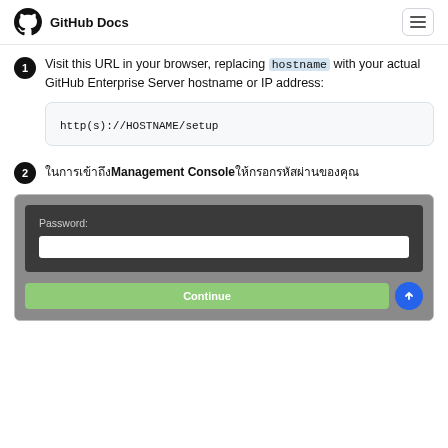GitHub Docs
Visit this URL in your browser, replacing `hostname` with your actual GitHub Enterprise Server hostname or IP address:
http(s)://HOSTNAME/setup
ในManagement Consoleกรอกรหัสผ่านของคุณ
[Figure (screenshot): Management Console password entry screen with a Password field and a Continue button]